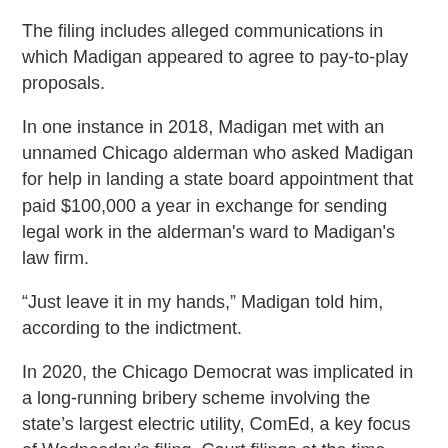The filing includes alleged communications in which Madigan appeared to agree to pay-to-play proposals.
In one instance in 2018, Madigan met with an unnamed Chicago alderman who asked Madigan for help in landing a state board appointment that paid $100,000 a year in exchange for sending legal work in the alderman's ward to Madigan's law firm.
“Just leave it in my hands,” Madigan told him, according to the indictment.
In 2020, the Chicago Democrat was implicated in a long-running bribery scheme involving the state’s largest electric utility, ComEd, a key focus of Wednesday’s filing. Court filings at the time didn’t name Madigan directly but made it clear he was the person in documents referred to as “Public Official A.”